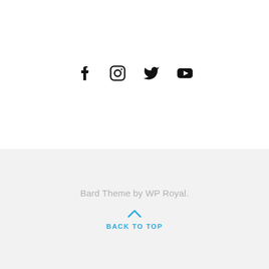[Figure (other): Four social media icons: Facebook, Instagram, Twitter, YouTube displayed in a row]
Bard Theme by WP Royal.
BACK TO TOP